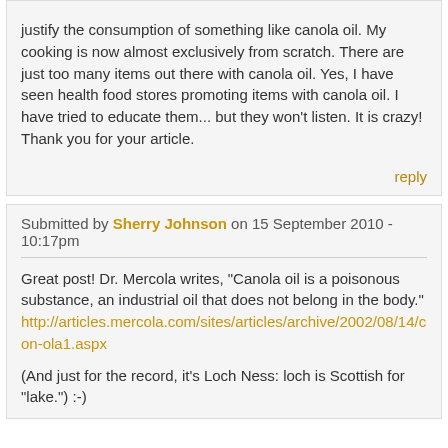justify the consumption of something like canola oil. My cooking is now almost exclusively from scratch. There are just too many items out there with canola oil. Yes, I have seen health food stores promoting items with canola oil. I have tried to educate them... but they won't listen. It is crazy! Thank you for your article.
reply
Submitted by Sherry Johnson on 15 September 2010 - 10:17pm
Great post! Dr. Mercola writes, "Canola oil is a poisonous substance, an industrial oil that does not belong in the body." http://articles.mercola.com/sites/articles/archive/2002/08/14/con-ola1.aspx
(And just for the record, it's Loch Ness: loch is Scottish for "lake.") :-)